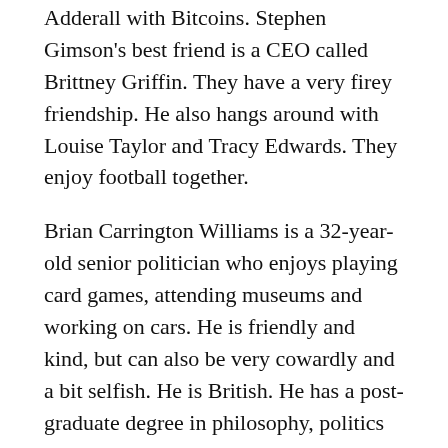Adderall with Bitcoins. Stephen Gimson's best friend is a CEO called Brittney Griffin. They have a very firey friendship. He also hangs around with Louise Taylor and Tracy Edwards. They enjoy football together.
Brian Carrington Williams is a 32-year-old senior politician who enjoys playing card games, attending museums and working on cars. He is friendly and kind, but can also be very cowardly and a bit selfish. He is British. He has a post-graduate degree in philosophy, politics and economics. He is obsessed with organic vegetables. Physically, Brian Carrington is slightly overweight but otherwise in good shape. He is tall with olive skin, black hair and black eyes. He grew up in an upper class neighbourhood. He was raised by his father, his mother having left when he was young. He is currently single. His most recent romance was with a plumber called Makenzie